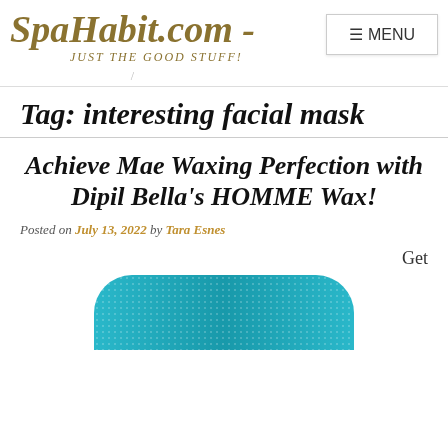SpaHabit.com - JUST THE GOOD STUFF!
Tag: interesting facial mask
Achieve Mae Waxing Perfection with Dipil Bella's HOMME Wax!
Posted on July 13, 2022 by Tara Esnes
Get
[Figure (photo): Teal/blue rounded rectangular product (wax container) shown partially at bottom of page]